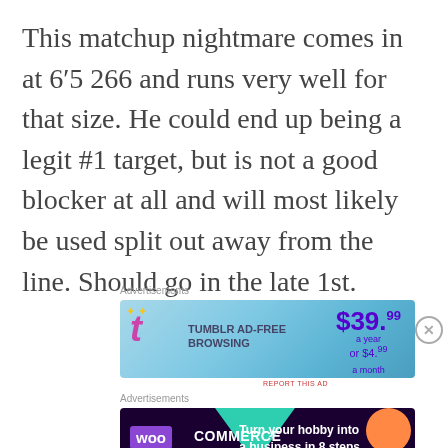This matchup nightmare comes in at 6′5 266 and runs very well for that size. He could end up being a legit #1 target, but is not a good blocker at all and will most likely be used split out away from the line. Should go in the late 1st.
Advertisements
[Figure (other): Tumblr Ad-Free Browsing advertisement banner: $39.99 a year or $4.99 a month]
Advertisements
[Figure (other): WooCommerce advertisement banner: Turn your hobby into a business in 8 steps]